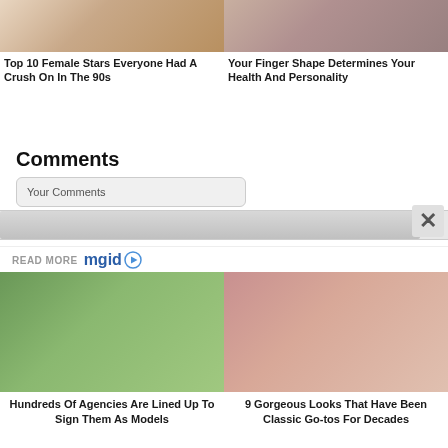[Figure (photo): Partial photo of a blonde female celebrity]
Top 10 Female Stars Everyone Had A Crush On In The 90s
[Figure (photo): Partial photo of a hand/finger close-up]
Your Finger Shape Determines Your Health And Personality
Comments
Your Comments
[Figure (screenshot): READ MORE mgid logo bar]
[Figure (photo): Two young girls with buns hairstyle outdoors]
Hundreds Of Agencies Are Lined Up To Sign Them As Models
[Figure (photo): Close-up portrait of an Asian woman with dramatic eye makeup]
9 Gorgeous Looks That Have Been Classic Go-tos For Decades